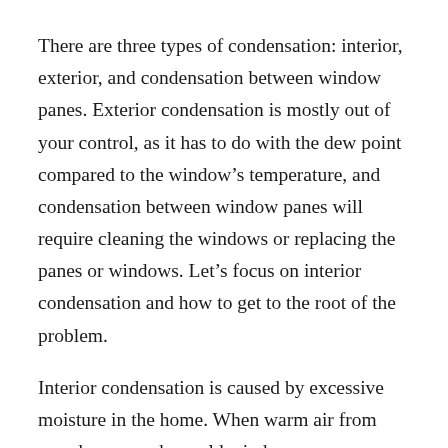There are three types of condensation: interior, exterior, and condensation between window panes. Exterior condensation is mostly out of your control, as it has to do with the dew point compared to the window's temperature, and condensation between window panes will require cleaning the windows or replacing the panes or windows. Let's focus on interior condensation and how to get to the root of the problem.
Interior condensation is caused by excessive moisture in the home. When warm air from your home reaches cold windows, condensation appears. Condensation can be caused by a slew of